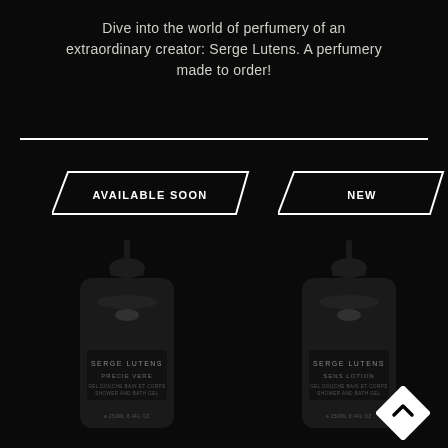Dive into the world of perfumery of an extraordinary creator: Serge Lutens. A perfumery made to order!
[Figure (illustration): Horizontal white divider line]
[Figure (infographic): Parallelogram badge with text AVAILABLE SOON in white on black background with white border]
[Figure (infographic): Parallelogram badge with text NEW in white on black background with white border]
[Figure (photo): Dark pump bottle of Serge Lutens product labeled PRECIE VERE on black background]
[Figure (photo): Dark pump bottle of Serge Lutens product labeled SENS LOTION on black background]
[Figure (logo): White diamond/rhombus shape with upward chevron arrow inside, Serge Lutens brand logo]